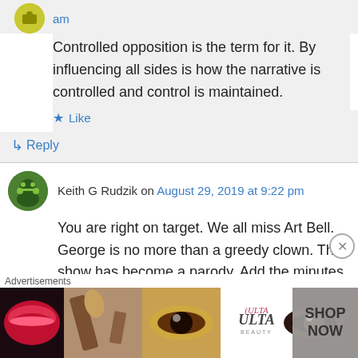am
Controlled opposition is the term for it. By influencing all sides is how the narrative is controlled and control is maintained.
Like
Reply
Keith G Rudzik on August 29, 2019 at 9:22 pm
You are right on target. We all miss Art Bell. George is no more than a greedy clown. The show has become a parody. Add the minutes of
Advertisements
[Figure (photo): ULTA beauty advertisement banner showing cosmetics imagery with lips, makeup brush, eye makeup, and ULTA logo with SHOP NOW text]